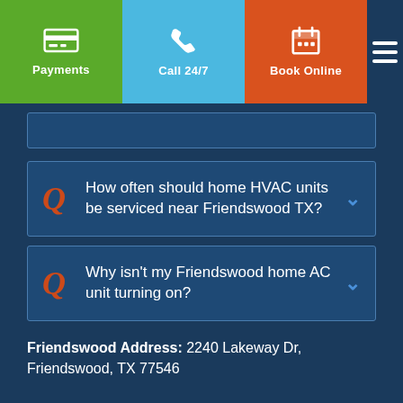Payments | Call 24/7 | Book Online
How often should home HVAC units be serviced near Friendswood TX?
Why isn't my Friendswood home AC unit turning on?
Friendswood Address: 2240 Lakeway Dr, Friendswood, TX 77546
New Central Air Conditioning Installations & Heating System